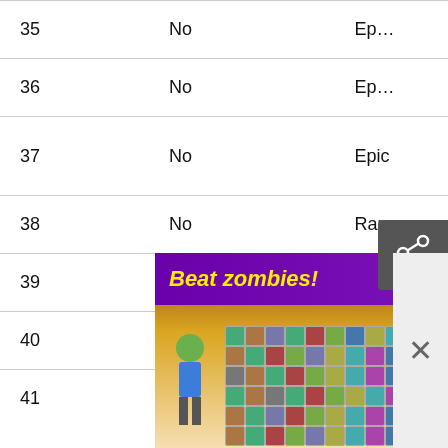| # | Animated? | Rarity | Episode/Title | Other |
| --- | --- | --- | --- | --- |
| 35 | No | Ep… |  |  |
| 36 | No | Ep… |  |  |
| 37 | No | Epic | Master's Bidding |  |
| 38 | No | Rare | The Gallows |  |
| 39 | Yes | Epic | Matchlock |  |
| 40 | No | Rare | Joint Task |  |
| 41 |  |  |  |  |
[Figure (screenshot): A fighting video game screenshot showing two characters fighting in an outdoor arena, with a HUD bar at the top showing health and coins.]
[Figure (screenshot): A mobile game advertisement for Breaker Fun 2 showing zombie-themed puzzle game with a grid of characters. Header says 'Beat zombies!']